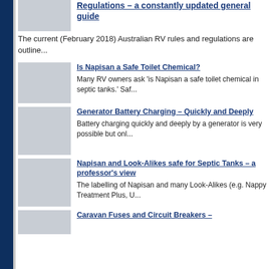Regulations – a constantly updated general guide
The current (February 2018) Australian RV rules and regulations are outline...
Is Napisan a Safe Toilet Chemical?
Many RV owners ask 'is Napisan a safe toilet chemical in septic tanks.' Saf...
Generator Battery Charging – Quickly and Deeply
Battery charging quickly and deeply by a generator is very possible but onl...
Napisan and Look-Alikes safe for Septic Tanks – a professor's view
The labelling of Napisan and many Look-Alikes (e.g. Nappy Treatment Plus, U...
Caravan Fuses and Circuit Breakers –